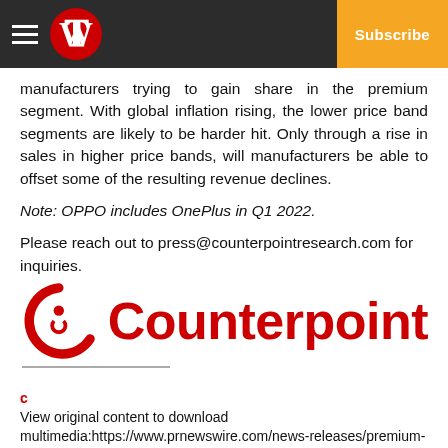NYT Subscribe
manufacturers trying to gain share in the premium segment. With global inflation rising, the lower price band segments are likely to be harder hit. Only through a rise in sales in higher price bands, will manufacturers be able to offset some of the resulting revenue declines.
Note: OPPO includes OnePlus in Q1 2022.
Please reach out to press@counterpointresearch.com for inquiries.
[Figure (logo): Counterpoint Research logo — red circular icon with letter C and a dot, followed by the word 'Counterpoint' in bold red text]
c
View original content to download multimedia:https://www.prnewswire.com/news-releases/premium-smartphones-hit-record-levels-in-q1-